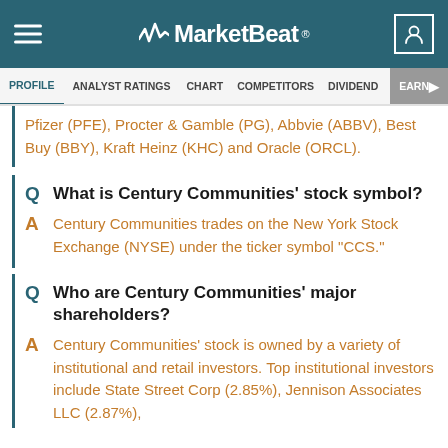MarketBeat
PROFILE  ANALYST RATINGS  CHART  COMPETITORS  DIVIDEND  EARNINGS
Pfizer (PFE), Procter & Gamble (PG), Abbvie (ABBV), Best Buy (BBY), Kraft Heinz (KHC) and Oracle (ORCL).
Q  What is Century Communities' stock symbol?
A  Century Communities trades on the New York Stock Exchange (NYSE) under the ticker symbol "CCS."
Q  Who are Century Communities' major shareholders?
A  Century Communities' stock is owned by a variety of institutional and retail investors. Top institutional investors include State Street Corp (2.85%), Jennison Associates LLC (2.87%),